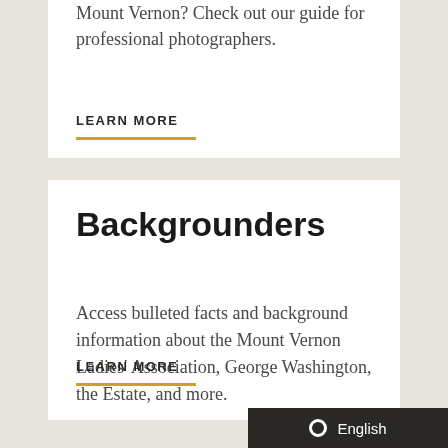Mount Vernon? Check out our guide for professional photographers.
LEARN MORE
Backgrounders
Access bulleted facts and background information about the Mount Vernon Ladies' Association, George Washington, the Estate, and more.
LEARN MORE
English